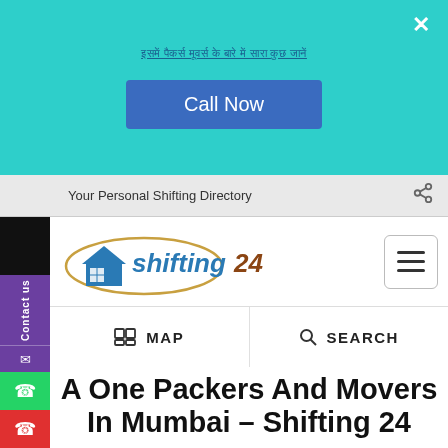इसमें पैकर्स मूवर्स के बारे में सारा कुछ जानें
Call Now
Your Personal Shifting Directory
[Figure (logo): Shifting24 logo with house icon]
MAP
SEARCH
A One Packers And Movers In Mumbai – Shifting 24